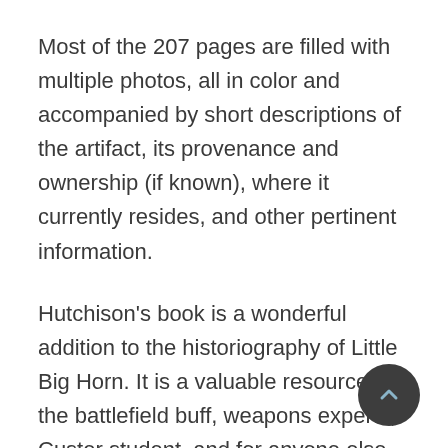Most of the 207 pages are filled with multiple photos, all in color and accompanied by short descriptions of the artifact, its provenance and ownership (if known), where it currently resides, and other pertinent information.
Hutchison’s book is a wonderful addition to the historiography of Little Big Horn. It is a valuable resource for the battlefield buff, weapons experts, Custer student, and for anyone else interested in what transpired along the “Greasy Grass” on that fateful Sabbath in late June 1876. His concise prose and excellent photography complement his sweeping selection of relics to include in the work.
At $49.99, this book is not inexpensive, but the very